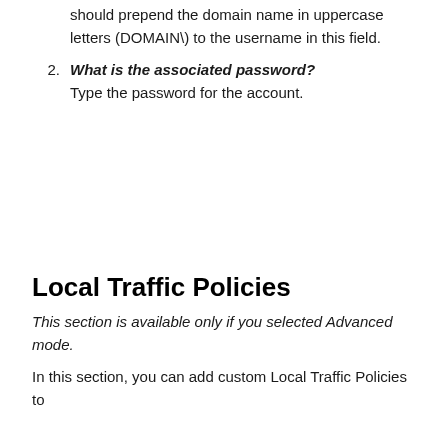should prepend the domain name in uppercase letters (DOMAIN\) to the username in this field.
What is the associated password? Type the password for the account.
Local Traffic Policies
This section is available only if you selected Advanced mode.
In this section, you can add custom Local Traffic Policies to